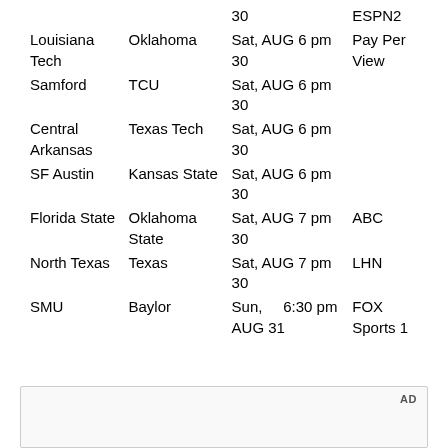| Team | Opponent | Date/Time | Network |
| --- | --- | --- | --- |
|  |  | 30 | ESPN2 |
| Louisiana Tech | Oklahoma | Sat, AUG 6 pm 30 | Pay Per View |
| Samford | TCU | Sat, AUG 6 pm 30 |  |
| Central Arkansas | Texas Tech | Sat, AUG 6 pm 30 |  |
| SF Austin | Kansas State | Sat, AUG 6 pm 30 |  |
| Florida State | Oklahoma State | Sat, AUG 7 pm 30 | ABC |
| North Texas | Texas | Sat, AUG 7 pm 30 | LHN |
| SMU | Baylor | Sun, AUG 31  6:30 pm | FOX Sports 1 |